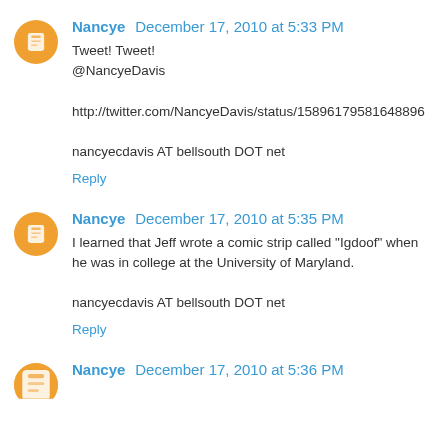Nancye  December 17, 2010 at 5:33 PM
Tweet! Tweet!
@NancyeDavis

http://twitter.com/NancyeDavis/status/15896179581648896

nancyecdavis AT bellsouth DOT net
Reply
Nancye  December 17, 2010 at 5:35 PM
I learned that Jeff wrote a comic strip called "Igdoof" when he was in college at the University of Maryland.

nancyecdavis AT bellsouth DOT net
Reply
Nancye  December 17, 2010 at 5:36 PM